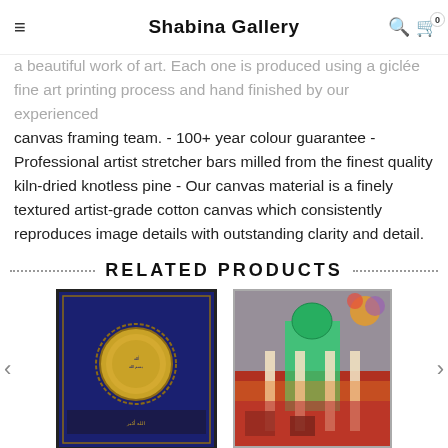Shabina Gallery
a beautiful work of art. Each one is produced using a giclée fine art printing process and hand finished by our experienced canvas framing team. - 100+ year colour guarantee - Professional artist stretcher bars milled from the finest quality kiln-dried knotless pine - Our canvas material is a finely textured artist-grade cotton canvas which consistently reproduces image details with outstanding clarity and detail.
RELATED PRODUCTS
[Figure (photo): Islamic calligraphy canvas art with gold circular medallion on dark blue mosaic background]
[Figure (photo): Colorful painting of a mosque interior with green dome and ornate architecture]